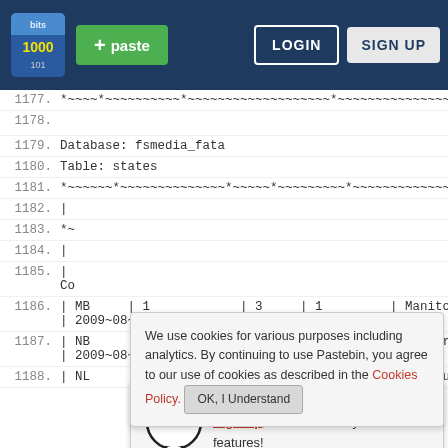[Figure (screenshot): Pastebin website navbar with logo, green paste button, LOGIN and SIGN UP buttons on dark blue background]
1177. *~~~~*~~~~~~~~~~*~~~~~~~~~~~~~~~~~~~*~~~~~~~~~~~~~~~~~~~~~~~~~~~~~~~~~
1178. (empty line)
1179. Database: fsmedia_fata
1180. Table: states
1181. *~~~~~~*~~~~~~~~~~~~~~*~~~~~*~~~~~~~~~*~~~~~~~~~~~~~~~~~~~~~~~~~~~~~~~~
1182. |
1183. *~
1184. |
1185. | Co
1186. | MB | 1 | 3 | 1 | Manitoba | 2009~08~27 12:51:57 |
1187. | NB | 1 | 4 | 1 | New Brunswick | 2009~08~27 12:52:15 |
1188. | NL | 1 | 5 | 1 | Newfoundland
We use cookies for various purposes including analytics. By continuing to use Pastebin, you agree to our use of cookies as described in the Cookies Policy. OK, I Understand
Not a member of Pastebin yet? Sign Up, it unlocks many cool features!